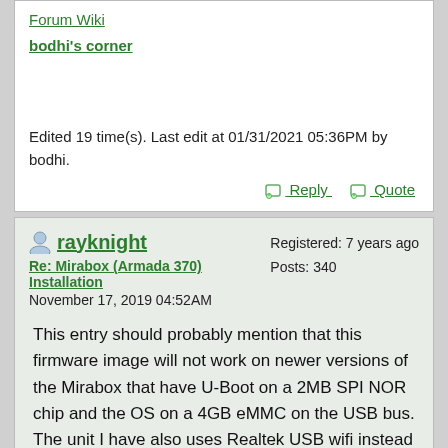Forum Wiki
bodhi's corner
Edited 19 time(s). Last edit at 01/31/2021 05:36PM by bodhi.
Reply   Quote
rayknight
Re: Mirabox (Armada 370) Installation
November 17, 2019 04:52AM
Registered: 7 years ago
Posts: 340
This entry should probably mention that this firmware image will not work on newer versions of the Mirabox that have U-Boot on a 2MB SPI NOR chip and the OS on a 4GB eMMC on the USB bus. The unit I have also uses Realtek USB wifi instead of the Marvell on earlier units. The earlier units are powered by 5V and this later version uses 12V power. It would be nice to get a working DTS file for these later versions as they also have support for MSATA SSD. My earlier version has Mira_Box_II_V5-0-1 silkscreened on the bottom front of